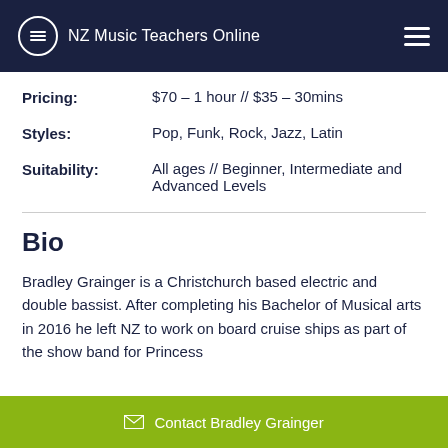NZ Music Teachers Online
Pricing: $70 – 1 hour // $35 – 30mins
Styles: Pop, Funk, Rock, Jazz, Latin
Suitability: All ages // Beginner, Intermediate and Advanced Levels
Bio
Bradley Grainger is a Christchurch based electric and double bassist. After completing his Bachelor of Musical arts in 2016 he left NZ to work on board cruise ships as part of the show band for Princess
Contact Bradley Grainger